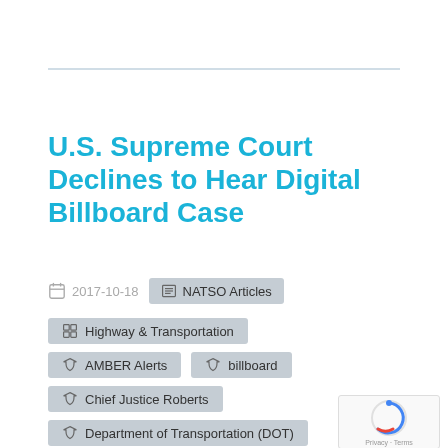U.S. Supreme Court Declines to Hear Digital Billboard Case
2017-10-18
NATSO Articles
Highway & Transportation
AMBER Alerts
billboard
Chief Justice Roberts
Department of Transportation (DOT)